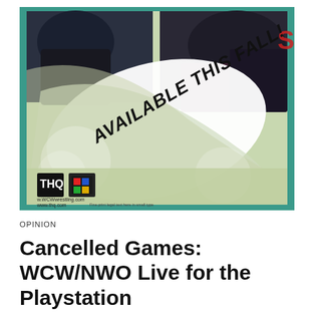[Figure (photo): A photo of a wrestling promotional poster/advertisement showing wrestlers in action at the top. The poster has a large swooping white/light area in the center with bold italic text reading 'AVAILABLE THIS FALL!' in dark letters. The bottom left shows THQ and Nintendo 64 logos along with website URLs www.WCWwrestling.com and www.thq.com. The background outside the poster is teal/green colored.]
OPINION
Cancelled Games: WCW/NWO Live for the Playstation